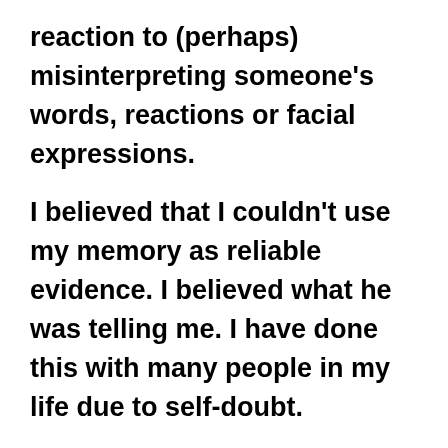reaction to (perhaps) misinterpreting someone's words, reactions or facial expressions.

I believed that I couldn't use my memory as reliable evidence. I believed what he was telling me. I have done this with many people in my life due to self-doubt.

 I fought (along with my true fam beside me) social services /the ex and the court